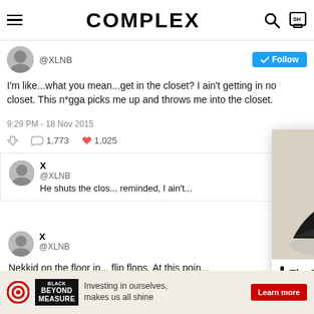COMPLEX
@XLNB
I'm like...what you mean...get in the closet? I ain't getting in no closet. This n*gga picks me up and throws me into the closet.
9:29 PM - 18 Nov 2015
1,773  1,025
X @XLNB He shuts the clos... reminded, I ain't...
X @XLNB
Nekkid on the floor in... flip flops. At this poin...
9:31 PM - 18 Nov 2015
[Figure (screenshot): Complex Sneakers Podcast overlay card with three men and sneaker imagery, titled 'The Best Back to School Sneakers, Then and Now | The Complex Sneakers Podcast']
Investing in ourselves, makes us all shine
Learn more